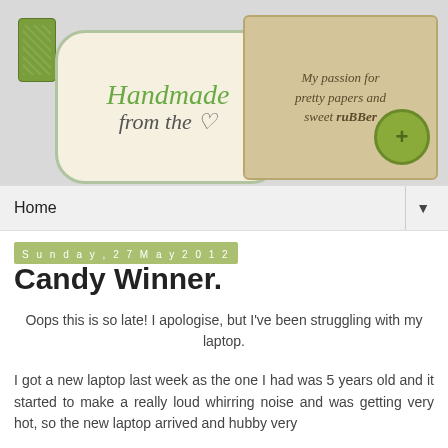[Figure (illustration): Blog header banner with decorative craft tags. Left tag reads 'Handmade from the' with a heart, right kraft tag reads 'My passion for pretty papers and sweet rubber'. Green fabric tag top left. Green button bottom right.]
Home ▼
Sunday, 27 May 2012
Candy Winner.
Oops this is so late! I apologise, but I've been struggling with my laptop.
I got a new laptop last week as the one I had was 5 years old and it started to make a really loud whirring noise and was getting very hot, so the new laptop arrived and hubby very